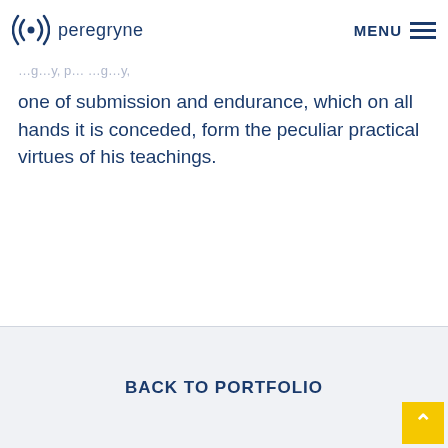peregryne  MENU
one of submission and endurance, which on all hands it is conceded, form the peculiar practical virtues of his teachings.
BACK TO PORTFOLIO